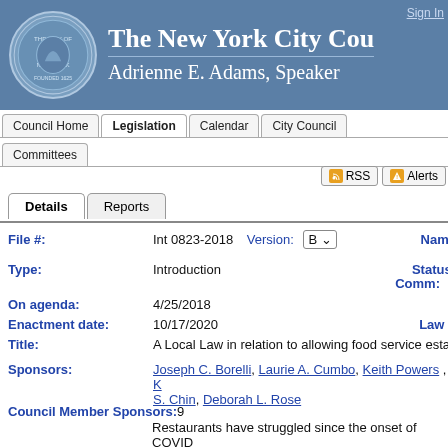The New York City Council — Adrienne E. Adams, Speaker
Sign In
Council Home | Legislation | Calendar | City Council | Committees
RSS | Alerts
Details | Reports
File #: Int 0823-2018   Version: B   Name:
Type: Introduction   Status:   Comm:
On agenda: 4/25/2018
Enactment date: 10/17/2020   Law n:
Title: A Local Law in relation to allowing food service esta
Sponsors: Joseph C. Borelli, Laurie A. Cumbo, Keith Powers, K... S. Chin, Deborah L. Rose
Council Member Sponsors: 9
Restaurants have struggled since the onset of COVID